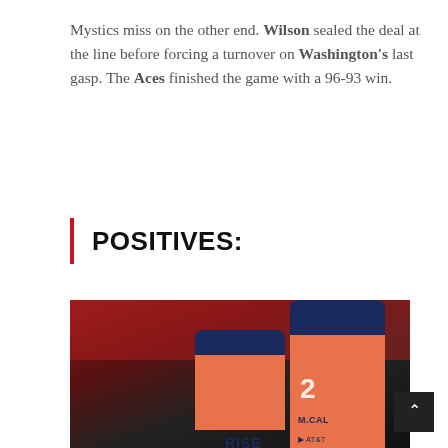Mystics miss on the other end. Wilson sealed the deal at the line before forcing a turnover on Washington's last gasp. The Aces finished the game with a 96-93 win.
POSITIVES:
[Figure (photo): Two Las Vegas Aces players in navy and orange 'RISE' jerseys on a basketball court. The player on the left faces forward, the player on the right (jersey number 2, name McCALL) faces away. AT&T sponsor logo visible.]